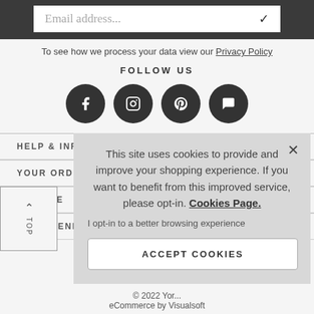Email address...
To see how we process your data view our Privacy Policy
FOLLOW US
[Figure (other): Four social media icons (Facebook, Instagram, Pinterest, Chat/Messenger) as dark circular buttons]
HELP & INFORM...
YOUR ORDER
R STORE
ORE OPENING...
TOP
This site uses cookies to provide and improve your shopping experience. If you want to benefit from this improved service, please opt-in. Cookies Page.
I opt-in to a better browsing experience
ACCEPT COOKIES
© 2022 Yor... eCommerce by Visualsoft